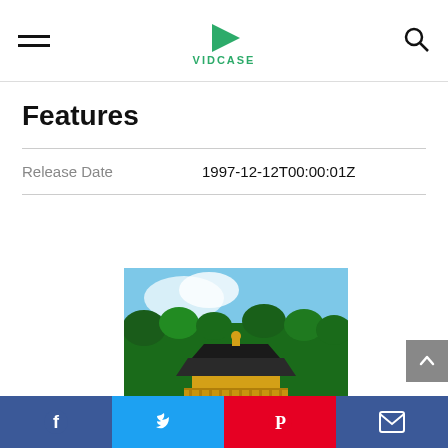VIDCASE
Features
| Release Date | 1997-12-12T00:00:01Z |
| --- | --- |
[Figure (photo): A golden Japanese temple/pagoda structure with dark roof, surrounded by lush green trees against a blue sky.]
Facebook | Twitter | Pinterest | Email